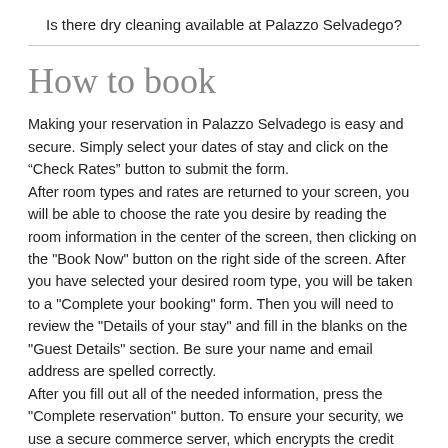Is there dry cleaning available at Palazzo Selvadego?
How to book
Making your reservation in Palazzo Selvadego is easy and secure. Simply select your dates of stay and click on the “Check Rates” button to submit the form.
After room types and rates are returned to your screen, you will be able to choose the rate you desire by reading the room information in the center of the screen, then clicking on the "Book Now" button on the right side of the screen. After you have selected your desired room type, you will be taken to a "Complete your booking" form. Then you will need to review the "Details of your stay" and fill in the blanks on the "Guest Details" section. Be sure your name and email address are spelled correctly.
After you fill out all of the needed information, press the "Complete reservation" button. To ensure your security, we use a secure commerce server, which encrypts the credit card